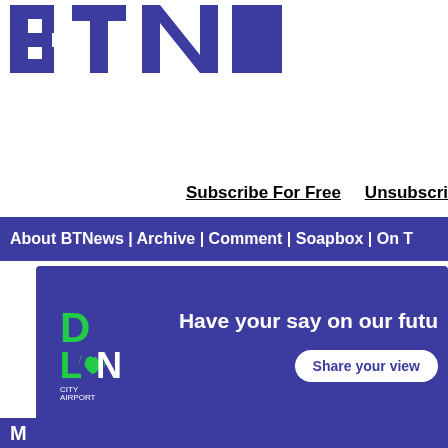[Figure (logo): BTNews logo - large blue/purple stylized letters BTN partially visible, cropped at right edge]
Subscribe For Free    Unsubscri...
About BTNews | Archive | Comment | Soapbox | On T...
[Figure (infographic): London City Airport advertisement banner: blue background, London City Airport logo (D LON CITY AIRPORT with heart), text 'Have your say on our futu...' and white button 'Share your view...']
* Item includes READ...
[Figure (other): Blue section header bar at bottom, partially visible]